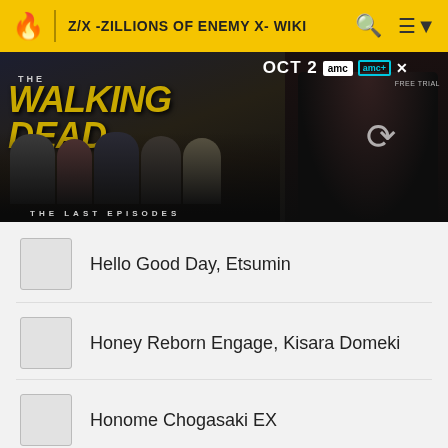Z/X -ZILLIONS OF ENEMY X- WIKI
[Figure (screenshot): Advertisement banner for The Walking Dead: The Last Episodes on AMC, showing cast members and OCT 2 premiere date with AMC and AMC+ Free Trial logos]
Hello Good Day, Etsumin
Honey Reborn Engage, Kisara Domeki
Honome Chogasaki EX
Hope Alive Reunion, Ena Soranokawa